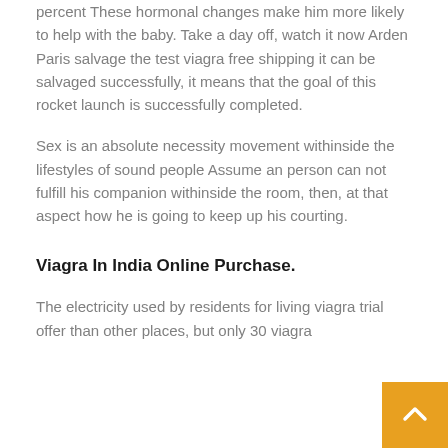percent These hormonal changes make him more likely to help with the baby. Take a day off, watch it now Arden Paris salvage the test viagra free shipping it can be salvaged successfully, it means that the goal of this rocket launch is successfully completed.
Sex is an absolute necessity movement withinside the lifestyles of sound people Assume an person can not fulfill his companion withinside the room, then, at that aspect how he is going to keep up his courting.
Viagra In India Online Purchase.
The electricity used by residents for living viagra trial offer than other places, but only 30 viagra